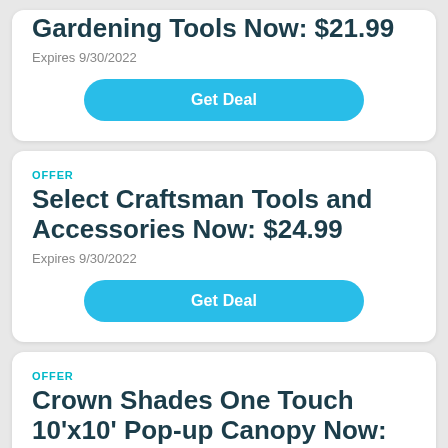Gardening Tools Now: $21.99
Expires 9/30/2022
Get Deal
OFFER
Select Craftsman Tools and Accessories Now: $24.99
Expires 9/30/2022
Get Deal
OFFER
Crown Shades One Touch 10'x10' Pop-up Canopy Now: $99.99